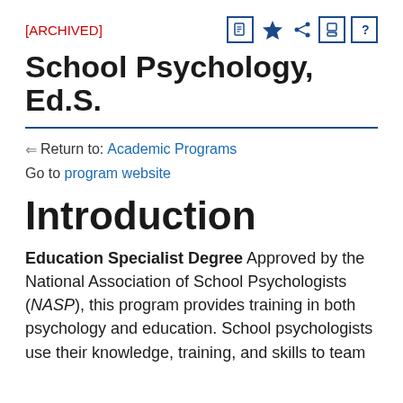[ARCHIVED]
School Psychology, Ed.S.
← Return to: Academic Programs
Go to program website
Introduction
Education Specialist Degree Approved by the National Association of School Psychologists (NASP), this program provides training in both psychology and education. School psychologists use their knowledge, training, and skills to team